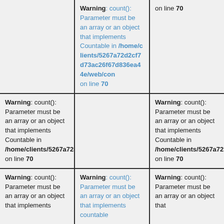on line 70
Warning: count(): Parameter must be an array or an object that implements Countable in /home/clients/5267a72d2cf7d73ac26f67d8b36ea44e/web/con/ on line 70
Warning: count(): Parameter must be an array or an object that implements Countable in /home/clients/5267a72d2cf7d73ac26f67d8b36ea44e/web/con/ on line 70
Warning: count(): Parameter must be an array or an object that implements Countable in /home/clients/5267a72d2cf7d73ac26f67d8b36ea44e/web/con/ on line 70
Warning: count(): Parameter must be an array or an object that implements Countable in /home/clients/5267a72d2cf7d73ac26f67d8b36ea44e/web/con/ on line 70
Warning: count(): Parameter must be an array or an object that implements Countable in /home/clients/5267a72d2cf7d73ac26f67d8b36ea44e/web/con/ on line 70
Warning: count(): Parameter must be an array or an object that implements Countable in /home/clients/5267a72d2cf7d73ac26f67d8b36ea44e/web/con/ on line 70
Warning: count(): Parameter must be an array or an object that implements Countable in /home/clients/5267a72d2cf7d73ac26f67d8b36ea44e/web/con/ on line 70
Warning: count(): Parameter must be an array or an object that implements Countable in /home/clients/5267a72d2cf7d73ac26f67d8b36ea44e/web/con/ on line 70